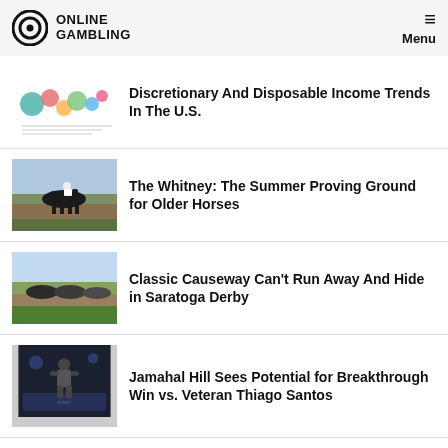ONLINE GAMBLING — Menu
Discretionary And Disposable Income Trends In The U.S.
The Whitney: The Summer Proving Ground for Older Horses
Classic Causeway Can't Run Away And Hide in Saratoga Derby
Jamahal Hill Sees Potential for Breakthrough Win vs. Veteran Thiago Santos
NBA Season Scoring Average Totals: